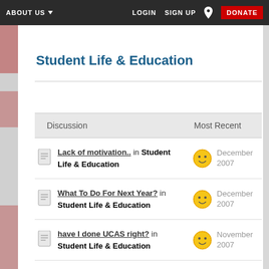ABOUT US  LOGIN  SIGN UP  DONATE
Student Life & Education
| Discussion | Most Recent |
| --- | --- |
| Lack of motivation.. in Student Life & Education | December 2007 |
| What To Do For Next Year? in Student Life & Education | December 2007 |
| have I done UCAS right? in Student Life & Education | November 2007 |
| Halls - any alternatives? 1 2 in | January |